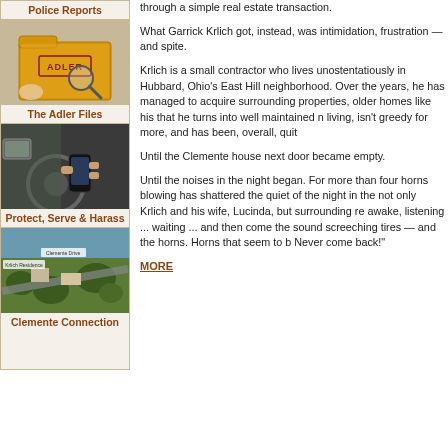Police Reports
[Figure (illustration): Adler Files folder illustration with magnifying glass]
The Adler Files
[Figure (photo): Person holding phone while driving]
Protect, Serve & Harass
[Figure (photo): Aerial view of Clemente property with labels]
Clemente Connection
through a simple real estate transaction.
What Garrick Krlich got, instead, was intimidation, frustration — and spite.
Krlich is a small contractor who lives unostentatiously in Hubbard, Ohio's East Hill neighborhood. Over the years, he has managed to acquire surrounding properties, older homes like his that he turns into well maintained n living, isn't greedy for more, and has been, overall, quit
Until the Clemente house next door became empty.
Until the noises in the night began. For more than four horns blowing has shattered the quiet of the night in the not only Krlich and his wife, Lucinda, but surrounding re awake, listening ... waiting ... and then come the sound screeching tires — and the horns. Horns that seem to b Never come back!"
MORE